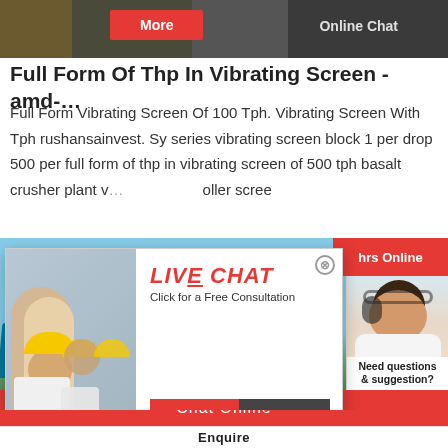[Figure (screenshot): Top banner image with dark background machinery photo, red 'More' button and 'Online Chat' text]
Full Form Of Thp In Vibrating Screen - amd-…
Full Form Vibrating Screen Of 100 Tph. Vibrating Screen With Tph rushansainvest. Sy series vibrating screen block 1 per drop 500 per full form of thp in vibrating screen of 500 tph basalt crusher plant v... roller scree
[Figure (screenshot): Live Chat popup overlay showing workers in hard hats, LIVE CHAT heading in red italic, 'Click for a Free Consultation' text, Chat now and Chat later buttons. Behind it: machinery photo with blue crusher equipment, red 'hrs Online' bar top right, and a customer service agent photo with 'Need questions & suggestion?' text and red 'Chat Now' button]
Chat Online
Enquire